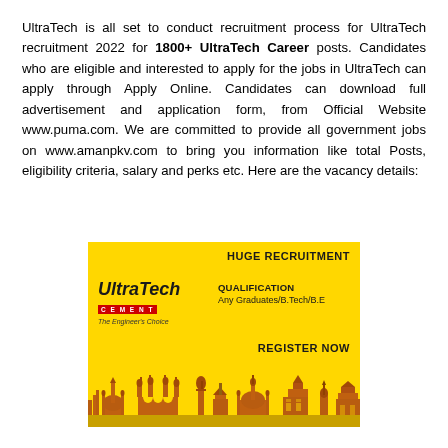UltraTech is all set to conduct recruitment process for UltraTech recruitment 2022 for 1800+ UltraTech Career posts. Candidates who are eligible and interested to apply for the jobs in UltraTech can apply through Apply Online. Candidates can download full advertisement and application form, from Official Website www.puma.com. We are committed to provide all government jobs on www.amanpkv.com to bring you information like total Posts, eligibility criteria, salary and perks etc. Here are the vacancy details:
[Figure (infographic): UltraTech Cement recruitment advertisement banner on yellow background showing the UltraTech Cement logo with 'The Engineer's Choice' tagline, text 'HUGE RECRUITMENT', 'QUALIFICATION: Any Graduates/B.Tech/B.E', 'REGISTER NOW', and a decorative skyline of Indian monuments at the bottom.]